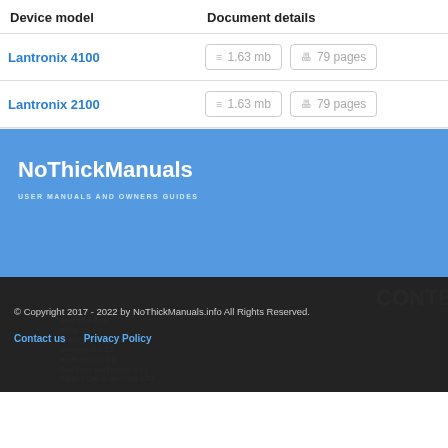| Device model | Document details |
| --- | --- |
| Lantronix 4100 | 1.63 mb | 79 pages |
| Lantronix 2100 | 1.63 mb | 79 pages |
NoThickManuals
USER MANUALS AND OWNERS GUIDES
© Copyright 2017 - 2022 by NoThickManuals.info All Rights Reserved.
Contact us
Privacy Policy